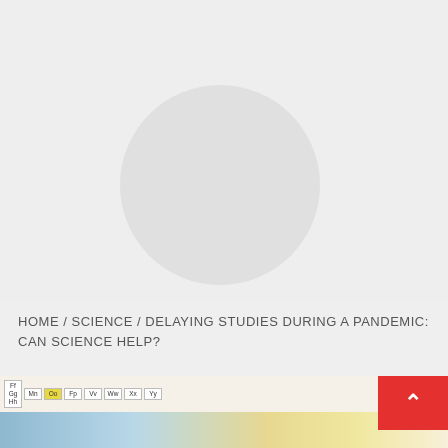[Figure (photo): Loading spinner / placeholder circle on a light grey background, representing an image that has not yet loaded.]
HOME / SCIENCE / DELAYING STUDIES DURING A PANDEMIC: CAN SCIENCE HELP?
[Figure (photo): Photograph of a classroom showing an alphabet/periodic-table-style wall strip and educational posters. A red scroll-to-top button is overlaid in the bottom right corner.]